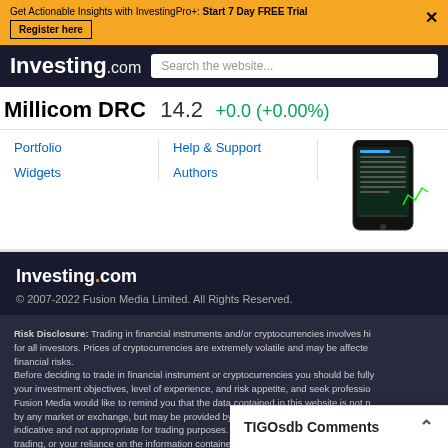Get Actionable Insights with InvestingPro+: Start 7 Day FREE Trial  Register here  ×
[Figure (screenshot): Investing.com logo and search bar in dark navigation bar]
Millicom DRC  14.2  +0.0 (+0.00%)
Portfolio   Help & Support   Widgets   Authors
[Figure (photo): Mobile phone showing stock data app screenshot]
[Figure (logo): Investing.com logo in white on dark background]
© 2007-2022 Fusion Media Limited. All Rights Reserved.
Risk Disclosure: Trading in financial instruments and/or cryptocurrencies involves hi... for all investors. Prices of cryptocurrencies are extremely volatile and may be affecte... financial risks. Before deciding to trade in financial instrument or cryptocurrencies you should be fully... your investment objectives, level of experience, and risk appetite, and seek professio... Fusion Media would like to remind you that the data contained in this website is not n... by any market or exchange, but may be provided by market makers, and so prices m... indicative and not appropriate for trading purposes. Fusion Media and any provider o... trading, or your reliance on the information contained within this website. It is prohibited to use, store, reproduce, display, modify, transmit or distribute the data... data provide... Fusion Media...
TIGOsdb Comments